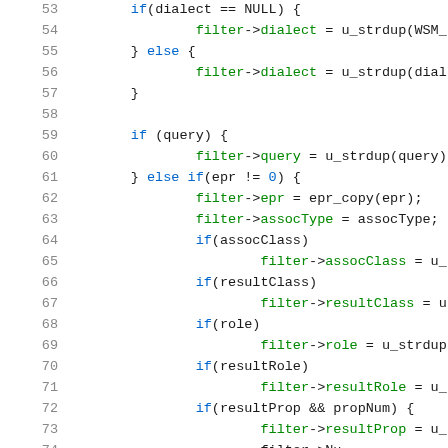[Figure (screenshot): Source code snippet in C showing lines 53-74, with syntax highlighting. Line numbers in gray on left, keywords in blue, struct member accesses in green, general code in dark/black.]